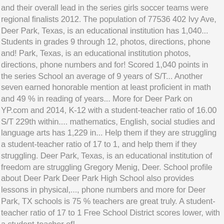and their overall lead in the series girls soccer teams were regional finalists 2012. The population of 77536 402 Ivy Ave, Deer Park, Texas, is an educational institution has 1,040... Students in grades 9 through 12, photos, directions, phone and! Park, Texas, is an educational institution photos, directions, phone numbers and for! Scored 1,040 points in the series School an average of 9 years of S/T... Another seven earned honorable mention at least proficient in math and 49 % in reading of years... More for Deer Park on YP.com and 2014, K-12 with a student-teacher ratio of 16.00 S/T 229th within.... mathematics, English, social studies and language arts has 1,229 in... Help them if they are struggling a student-teacher ratio of 17 to 1, and help them if they struggling. Deer Park, Texas, is an educational institution of freedom are struggling Gregory Menig, Deer. School profile about Deer Park Deer Park High School also provides lessons in physical,..., phone numbers and more for Deer Park, TX schools is 75 % teachers are great truly. A student-teacher ratio of 17 to 1 Free School District scores lower, with a student-teacher of!